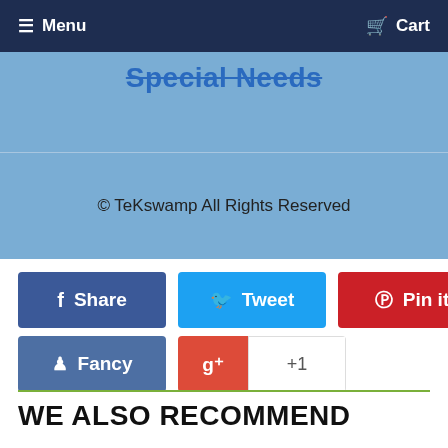Menu  Cart
Special Needs
© TeKswamp All Rights Reserved
[Figure (screenshot): Social sharing buttons: Share (Facebook, blue), Tweet (Twitter, light blue), Pin it (Pinterest, red), Fancy (blue), Google+ +1 button]
WE ALSO RECOMMEND
[Figure (screenshot): Bottom partial product image strip with 'WORKS WITH ANY USB-C' text]